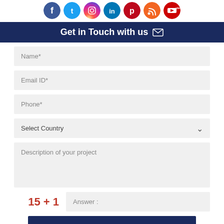[Figure (illustration): Row of social media icons: Facebook (blue), Twitter (light blue), Instagram (orange gradient), LinkedIn (blue), Pinterest (red), RSS (orange/red), YouTube (red/white)]
Get in Touch with us ✉
Name*
Email ID*
Phone*
Select Country
Description of your project
15 + 1   Answer :
SUBMIT